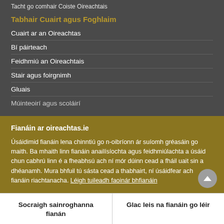Tacht go comhair Coiste Oireachtais
Tabhair Cuairt agus Foghlaim
Cuairt ar an Oireachtas
Bí páirteach
Feidhmiú an Oireachtais
Stair agus foirgnimh
Gluais
Múinteoirí agus scoláirí
Fianáin ar oireachtas.ie
Úsáidimid fianáin lena chinntiú go n-oibríonn ár suíomh gréasáin go maith. Ba mhaith linn fianáin anailísíochta agus feidhmiúlachta a úsáid chun cabhrú linn é a fheabhsú ach ní mór dúinn cead a fháil uait sin a dhéanamh. Mura bhfuil tú sásta cead a thabhairt, ní úsáidfear ach fianáin riachtanacha. Léigh tuileadh faoinár bhfianáin
Socraigh sainroghanna fianán
Glac leis na fianáin go léir